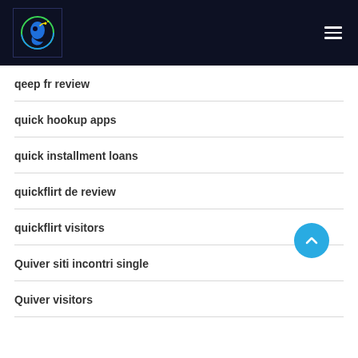Website navigation header with logo and hamburger menu
qeep fr review
quick hookup apps
quick installment loans
quickflirt de review
quickflirt visitors
Quiver siti incontri single
Quiver visitors